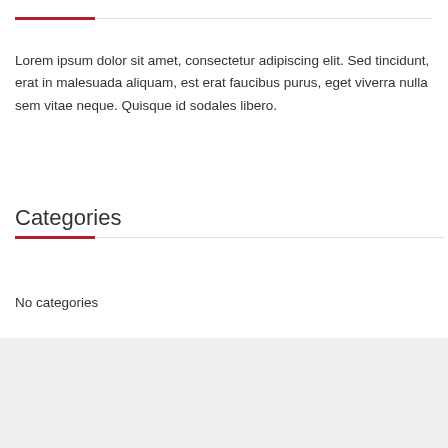Lorem ipsum dolor sit amet, consectetur adipiscing elit. Sed tincidunt, erat in malesuada aliquam, est erat faucibus purus, eget viverra nulla sem vitae neque. Quisque id sodales libero.
Categories
No categories